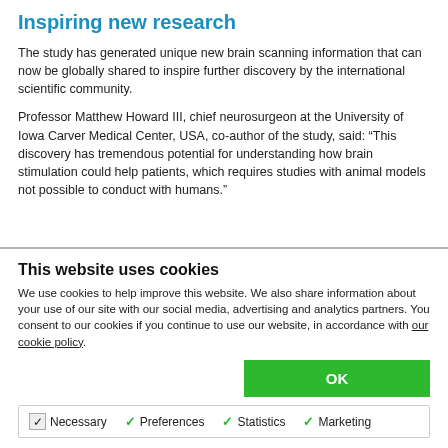Inspiring new research
The study has generated unique new brain scanning information that can now be globally shared to inspire further discovery by the international scientific community.
Professor Matthew Howard III, chief neurosurgeon at the University of Iowa Carver Medical Center, USA, co-author of the study, said: “This discovery has tremendous potential for understanding how brain stimulation could help patients, which requires studies with animal models not possible to conduct with humans.”
This website uses cookies
We use cookies to help improve this website. We also share information about your use of our site with our social media, advertising and analytics partners. You consent to our cookies if you continue to use our website, in accordance with our cookie policy.